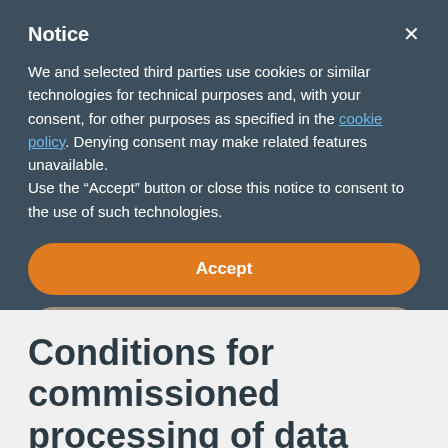Notice
We and selected third parties use cookies or similar technologies for technical purposes and, with your consent, for other purposes as specified in the cookie policy. Denying consent may make related features unavailable.
Use the “Accept” button or close this notice to consent to the use of such technologies.
Accept
Learn more and customize
Conditions for commissioned processing of data